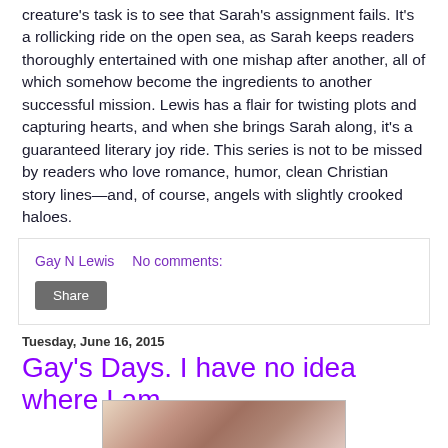creature's task is to see that Sarah's assignment fails. It's a rollicking ride on the open sea, as Sarah keeps readers thoroughly entertained with one mishap after another, all of which somehow become the ingredients to another successful mission. Lewis has a flair for twisting plots and capturing hearts, and when she brings Sarah along, it's a guaranteed literary joy ride. This series is not to be missed by readers who love romance, humor, clean Christian story lines—and, of course, angels with slightly crooked haloes.
Gay N Lewis    No comments:
Share
Tuesday, June 16, 2015
Gay's Days. I have no idea where I am
[Figure (photo): Partial view of a colorful photograph, partially visible at the bottom of the page]